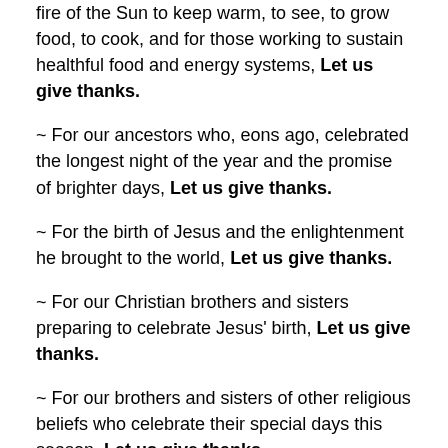fire of the Sun to keep warm, to see, to grow food, to cook, and for those working to sustain healthful food and energy systems, Let us give thanks.
~ For our ancestors who, eons ago, celebrated the longest night of the year and the promise of brighter days, Let us give thanks.
~ For the birth of Jesus and the enlightenment he brought to the world, Let us give thanks.
~ For our Christian brothers and sisters preparing to celebrate Jesus' birth, Let us give thanks.
~ For our brothers and sisters of other religious beliefs who celebrate their special days this season, Let us give thanks.
~ For those living and dead who have enlighten the world